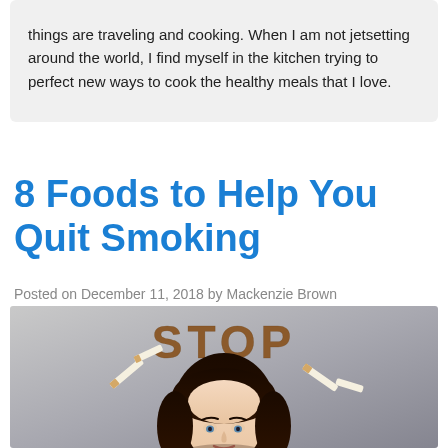things are traveling and cooking. When I am not jetsetting around the world, I find myself in the kitchen trying to perfect new ways to cook the healthy meals that I love.
8 Foods to Help You Quit Smoking
Posted on December 11, 2018 by Mackenzie Brown
[Figure (photo): Woman with dark hair looking forward, with the word STOP spelled out in tobacco/cigarette material above her head, with broken cigarettes. Gray gradient background.]